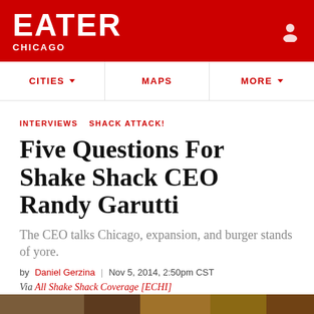EATER CHICAGO
CITIES   MAPS   MORE
INTERVIEWS   SHACK ATTACK!
Five Questions For Shake Shack CEO Randy Garutti
The CEO talks Chicago, expansion, and burger stands of yore.
by Daniel Gerzina | Nov 5, 2014, 2:50pm CST
Via All Shake Shack Coverage [ECHI]
SHARE